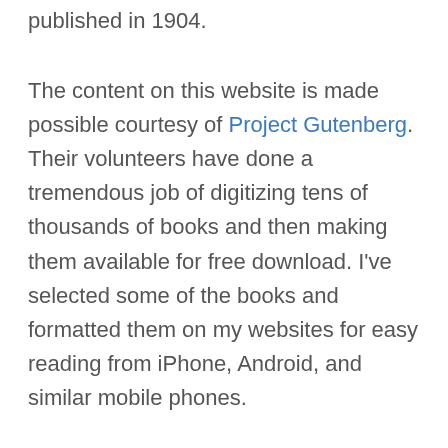published in 1904.
The content on this website is made possible courtesy of Project Gutenberg. Their volunteers have done a tremendous job of digitizing tens of thousands of books and then making them available for free download. I've selected some of the books and formatted them on my websites for easy reading from iPhone, Android, and similar mobile phones.
The images on this website are taken from http://www.gutenberg.org/files/36511/36511-